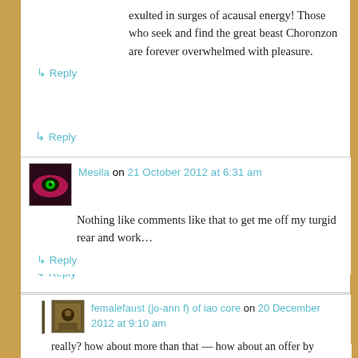exulted in surges of acausal energy! Those who seek and find the great beast Choronzon are forever overwhelmed with pleasure.
↳ Reply
Mesila on 21 October 2012 at 6:31 am
Nothing like comments like that to get me off my turgid rear and work…
↳ Reply
femalefaust (jo-ann f) of iao core on 20 December 2012 at 9:10 am
really? how about more than that — how about an offer by means of which you are whisked away to magickal parts half known for the moment of the apocalypse? this is not unreal. it is however time sensitive.
a call widget below: call me. if yr settings prevent this